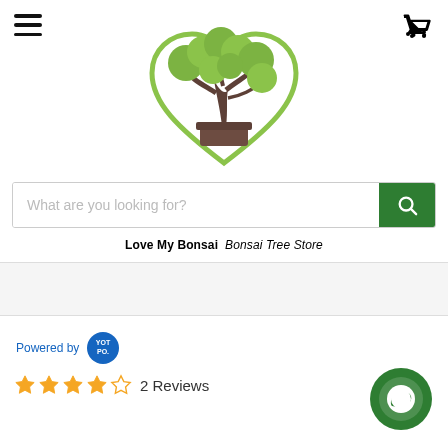[Figure (logo): Love My Bonsai logo: a bonsai tree inside a heart shape, green leaves and brown trunk/pot]
[Figure (illustration): Hamburger menu icon (three horizontal lines) in top-left corner]
[Figure (illustration): Shopping cart icon in top-right corner]
What are you looking for?
Love My Bonsai   Bonsai Tree Store
Powered by YOTPO
2 Reviews
[Figure (illustration): 4 filled gold stars and 1 empty star rating]
[Figure (illustration): Dark green circular chat button in bottom-right corner]